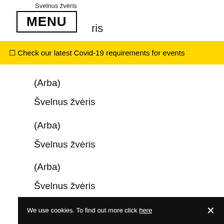Svelnus žvėris
MENU ris
☐ Check our latest Covid-19 requirements for events
(Arba)
Švelnus žvėris
(Arba)
Švelnus žvėris
(Arba)
Švelnus žvėris
Švelnus žvėris tave papjaus
(geriau)
We use cookies. To find out more click here